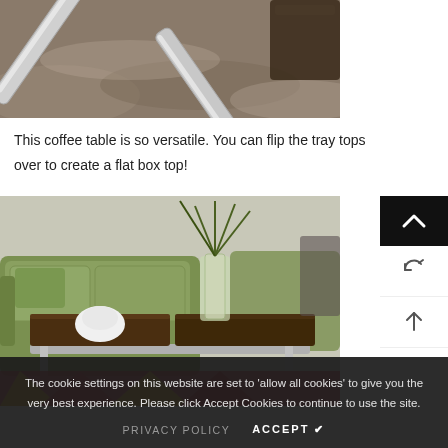[Figure (photo): Close-up photo of a chrome X-shaped coffee table base on a marble/stone patterned floor, with a dark wooden furniture piece visible in the background]
This coffee table is so versatile. You can flip the tray tops over to create a flat box top!
[Figure (photo): A living room scene featuring a coffee table with dark wooden tray tops, a vase of green plants, a white decorative object, and green upholstered sofas. A colorful rug is visible underneath.]
The cookie settings on this website are set to 'allow all cookies' to give you the very best experience. Please click Accept Cookies to continue to use the site.
PRIVACY POLICY   ACCEPT ✔